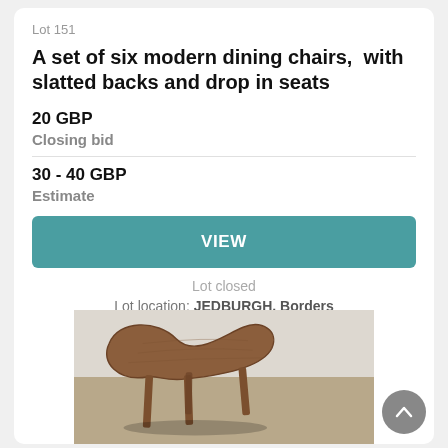Lot 151
A set of six modern dining chairs,  with slatted backs and drop in seats
20 GBP
Closing bid
30 - 40 GBP
Estimate
VIEW
Lot closed
Lot location: JEDBURGH, Borders
[Figure (photo): A kidney-shaped wooden side table with tapered legs, photographed on a neutral background.]